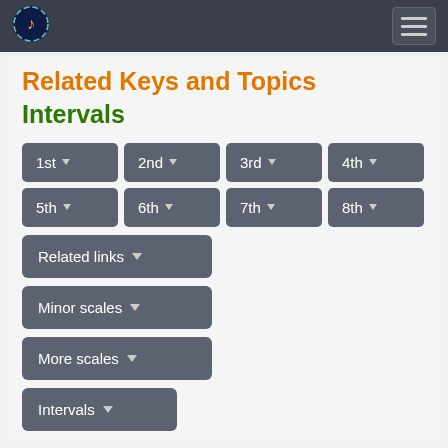Navigation bar with logo and menu
Related Keys and Topics
Intervals
1st
2nd
3rd
4th
5th
6th
7th
8th
Related links
Minor scales
More scales
Intervals